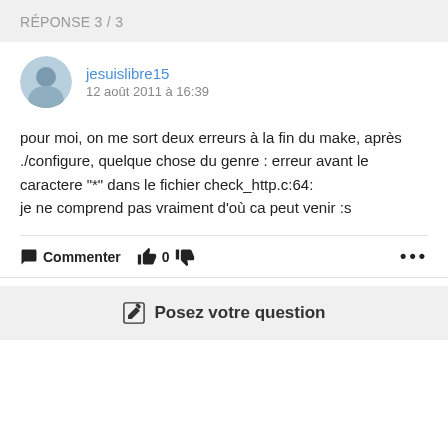RÉPONSE 3 / 3
jesuislibre15
12 août 2011 à 16:39
pour moi, on me sort deux erreurs à la fin du make, après ./configure, quelque chose du genre : erreur avant le caractere "*" dans le fichier check_http.c:64:
je ne comprend pas vraiment d'où ca peut venir :s
Commenter  0  ...
Posez votre question